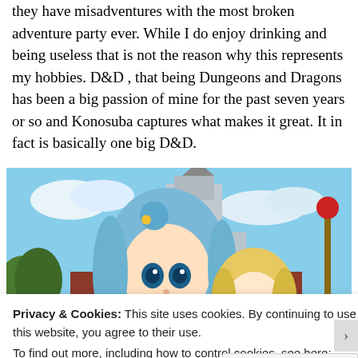they have misadventures with the most broken adventure party ever. While I do enjoy drinking and being useless that is not the reason why this represents my hobbies. D&D , that being Dungeons and Dragons has been a big passion of mine for the past seven years or so and Konosuba captures what makes it great. It in fact is basically one big D&D.
[Figure (illustration): Anime screenshot from Konosuba showing two female anime characters with blue and blonde hair in front of a fantasy castle town background.]
Privacy & Cookies: This site uses cookies. By continuing to use this website, you agree to their use.
To find out more, including how to control cookies, see here: Cookie Policy
Close and accept